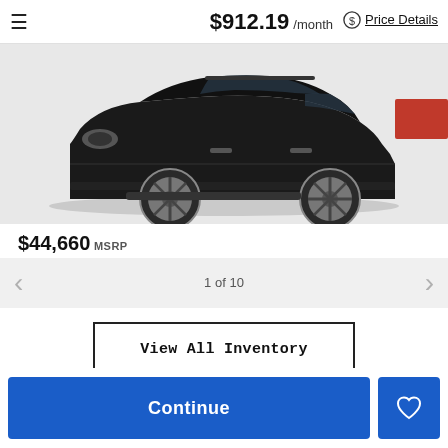☰  $912.19 /month  Price Details
[Figure (photo): Side profile of a black Mercedes-Benz GLB SUV on a light gray background]
$44,660 MSRP
1 of 10
View All Inventory
Continue